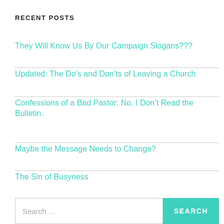RECENT POSTS
They Will Know Us By Our Campaign Slogans???
Updated: The Do’s and Don’ts of Leaving a Church
Confessions of a Bad Pastor: No, I Don’t Read the Bulletin.
Maybe the Message Needs to Change?
The Sin of Busyness